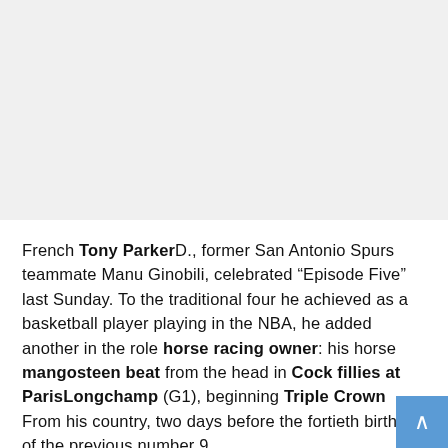[Figure (other): Large light gray placeholder image block occupying the top half of the page]
French Tony ParkerD., former San Antonio Spurs teammate Manu Ginobili, celebrated “Episode Five” last Sunday. To the traditional four he achieved as a basketball player playing in the NBA, he added another in the role horse racing owner: his horse mangosteen beat from the head in Cock fillies at ParisLongchamp (G1), beginning Triple Crown From his country, two days before the fortieth birthday of the previous number 9.